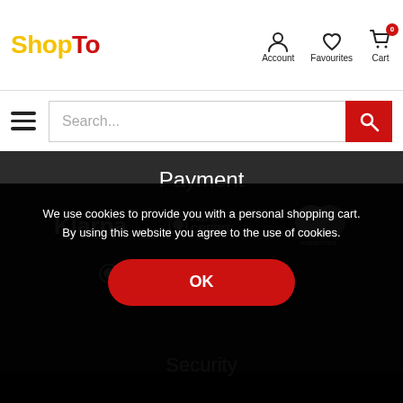[Figure (logo): ShopTo logo with yellow 'Shop' and red 'To' text]
[Figure (screenshot): Navigation icons: Account, Favourites, Cart with 0 badge]
[Figure (screenshot): Hamburger menu icon and search bar with red search button]
Payment
[Figure (logo): Payment logos: Klarna, PayPal Credit, Mastercard, PayPal, VISA]
Security
We use cookies to provide you with a personal shopping cart. By using this website you agree to the use of cookies.
[Figure (screenshot): Chat button in purple]
OK